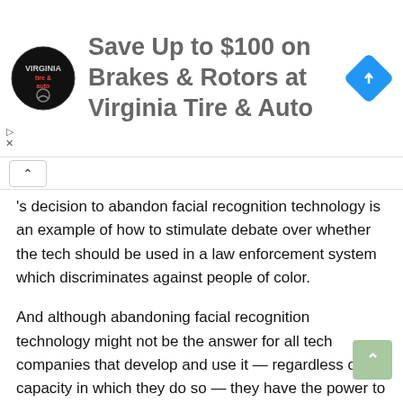[Figure (screenshot): Advertisement banner for Virginia Tire & Auto offering savings up to $100 on brakes and rotors, with circular logo and blue diamond navigation icon]
's decision to abandon facial recognition technology is an example of how to stimulate debate over whether the tech should be used in a law enforcement system which discriminates against people of color.
And although abandoning facial recognition technology might not be the answer for all tech companies that develop and use it — regardless of the capacity in which they do so — they have the power to also incite these same discussions over its regulation and make sure it is tested on accurate data sets before it is released.
Until then, their allyship in the fight for racial justice will continue to be performative.